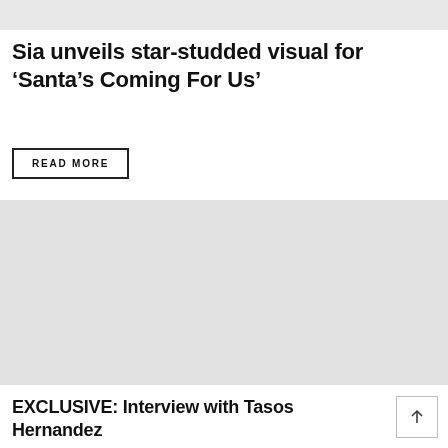[Figure (photo): Gray placeholder image at the top of the page]
Sia unveils star-studded visual for ‘Santa’s Coming For Us’
READ MORE
[Figure (photo): Large gray placeholder image in the middle of the page]
EXCLUSIVE: Interview with Tasos Hernandez